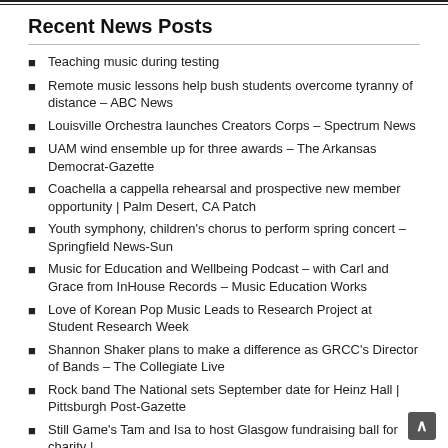Recent News Posts
Teaching music during testing
Remote music lessons help bush students overcome tyranny of distance – ABC News
Louisville Orchestra launches Creators Corps – Spectrum News
UAM wind ensemble up for three awards – The Arkansas Democrat-Gazette
Coachella a cappella rehearsal and prospective new member opportunity | Palm Desert, CA Patch
Youth symphony, children's chorus to perform spring concert – Springfield News-Sun
Music for Education and Wellbeing Podcast – with Carl and Grace from InHouse Records – Music Education Works
Love of Korean Pop Music Leads to Research Project at Student Research Week
Shannon Shaker plans to make a difference as GRCC's Director of Bands – The Collegiate Live
Rock band The National sets September date for Heinz Hall | Pittsburgh Post-Gazette
Still Game's Tam and Isa to host Glasgow fundraising ball for charity |